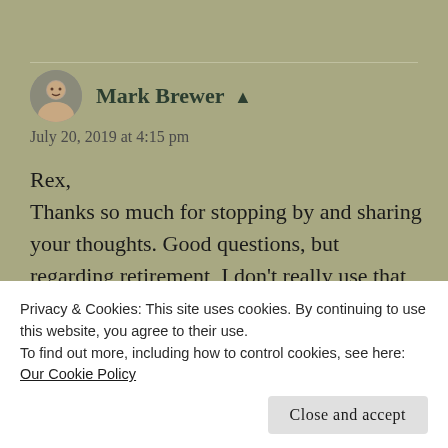[Figure (photo): Avatar photo of Mark Brewer - a man in a circular profile picture]
Mark Brewer ▲
July 20, 2019 at 4:15 pm
Rex,
Thanks so much for stopping by and sharing your thoughts. Good questions, but regarding retirement, I don't really use that word. I keep busy with lots of things and don't really think of myself as retired. Ha. Regarding time for a
Privacy & Cookies: This site uses cookies. By continuing to use this website, you agree to their use.
To find out more, including how to control cookies, see here: Our Cookie Policy
Close and accept